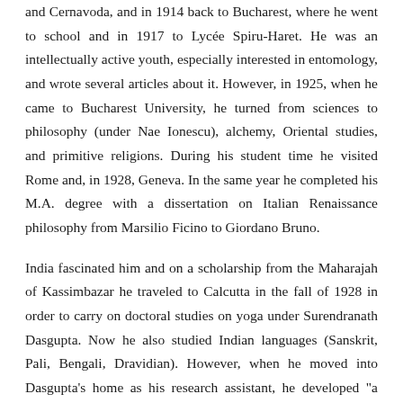and Cernavoda, and in 1914 back to Bucharest, where he went to school and in 1917 to Lycée Spiru-Haret. He was an intellectually active youth, especially interested in entomology, and wrote several articles about it. However, in 1925, when he came to Bucharest University, he turned from sciences to philosophy (under Nae Ionescu), alchemy, Oriental studies, and primitive religions. During his student time he visited Rome and, in 1928, Geneva. In the same year he completed his M.A. degree with a dissertation on Italian Renaissance philosophy from Marsilio Ficino to Giordano Bruno.
India fascinated him and on a scholarship from the Maharajah of Kassimbazar he traveled to Calcutta in the fall of 1928 in order to carry on doctoral studies on yoga under Surendranath Dasgupta. Now he also studied Indian languages (Sanskrit, Pali, Bengali, Dravidian). However, when he moved into Dasgupta's home as his research assistant, he developed "a brief, but intense love affair with Dasgupta's daughter Maitreyi, a liaison of which the family...